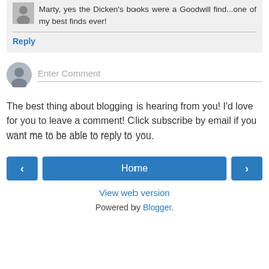Marty, yes the Dicken's books were a Goodwill find...one of my best finds ever!
Reply
[Figure (other): Enter Comment input field with avatar placeholder]
The best thing about blogging is hearing from you! I'd love for you to leave a comment! Click subscribe by email if you want me to be able to reply to you.
[Figure (other): Navigation buttons: left arrow, Home, right arrow]
View web version
Powered by Blogger.